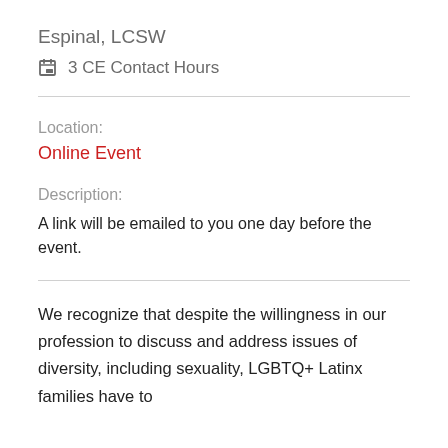Espinal, LCSW
3 CE Contact Hours
Location:
Online Event
Description:
A link will be emailed to you one day before the event.
We recognize that despite the willingness in our profession to discuss and address issues of diversity, including sexuality, LGBTQ+ Latinx families have to